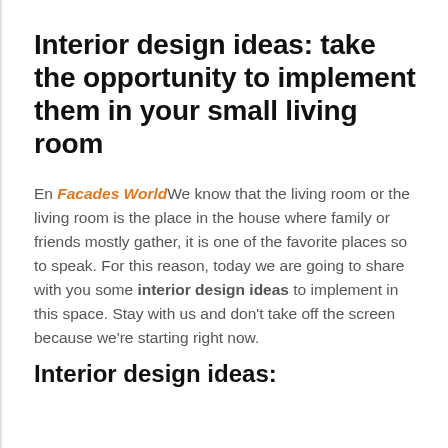Interior design ideas: take the opportunity to implement them in your small living room
En Facades World We know that the living room or the living room is the place in the house where family or friends mostly gather, it is one of the favorite places so to speak. For this reason, today we are going to share with you some interior design ideas to implement in this space. Stay with us and don't take off the screen because we're starting right now.
Interior design ideas: